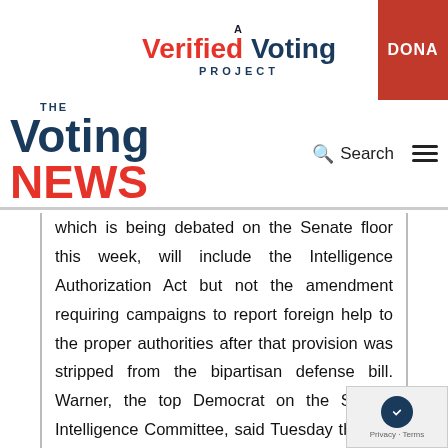[Figure (logo): A Verified Voting Project logo with red and navy text, and a red DONATE button on the right]
[Figure (logo): The Voting News logo with navigation bar including Search and hamburger menu icons]
which is being debated on the Senate floor this week, will include the Intelligence Authorization Act but not the amendment requiring campaigns to report foreign help to the proper authorities after that provision was stripped from the bipartisan defense bill. Warner, the top Democrat on the Senate Intelligence Committee, said Tuesday that his Republican